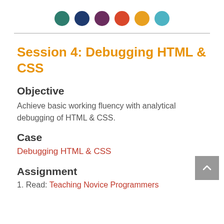[Figure (infographic): Six colored dots in a row: teal-green, dark navy, dark purple, red-orange, orange, light teal]
Session 4: Debugging HTML & CSS
Objective
Achieve basic working fluency with analytical debugging of HTML & CSS.
Case
Debugging HTML & CSS
Assignment
1. Read: Teaching Novice Programmers